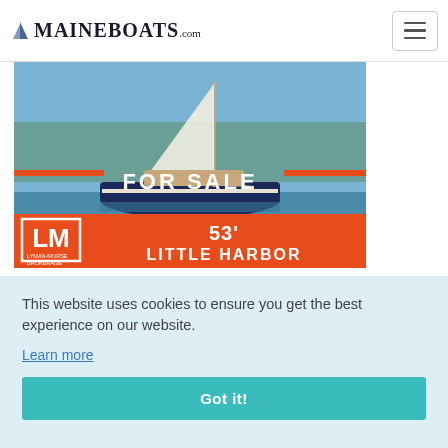MaineBoats.com
[Figure (photo): Sailboat on the water with 'FOR SALE' text overlay, and Lyman-Morse Brokerage banner showing '53' Little Harbor']
This website uses cookies to ensure you get the best experience on our website.
Learn more
Got it!